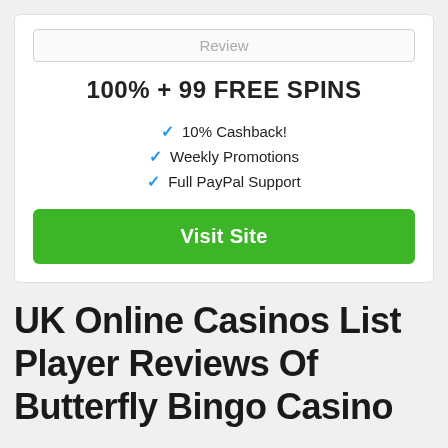Review
100% + 99 FREE SPINS
10% Cashback!
Weekly Promotions
Full PayPal Support
Visit Site
UK Online Casinos List Player Reviews Of Butterfly Bingo Casino